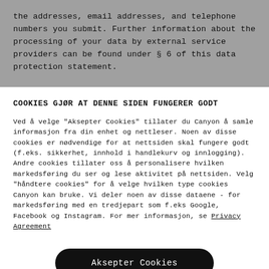the addresses, email addresses, and telephone numbers you submit. Further information about the processing of your data by external service providers can be found under § 6 of this data protection statement.
COOKIES GJØR AT DENNE SIDEN FUNGERER GODT
Ved å velge "Aksepter Cookies" tillater du Canyon å samle informasjon fra din enhet og nettleser. Noen av disse cookies er nødvendige for at nettsiden skal fungere godt (f.eks. sikkerhet, innhold i handlekurv og innlogging). Andre cookies tillater oss å personalisere hvilken markedsføring du ser og lese aktivitet på nettsiden. Velg "håndtere cookies" for å velge hvilken type cookies Canyon kan bruke. Vi deler noen av disse dataene - for markedsføring med en tredjepart som f.eks Google, Facebook og Instagram. For mer informasjon, se Privacy Agreement
Aksepter Cookies
Behandle Cookies